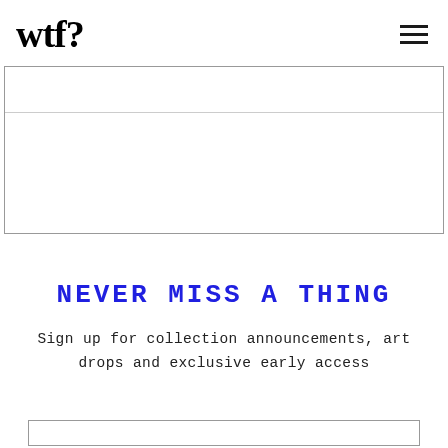wtf?
[Figure (other): Advertisement placeholder box with inner top border division]
NEVER MISS A THING
Sign up for collection announcements, art drops and exclusive early access
[Figure (other): Email input field box at bottom]